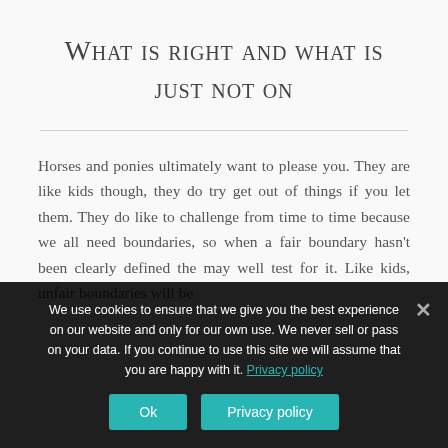What is right and what is just not on
Horses and ponies ultimately want to please you. They are like kids though, they do try get out of things if you let them. They do like to challenge from time to time because we all need boundaries, so when a fair boundary hasn't been clearly defined the may well test for it. Like kids, unfair boundaries will be
We use cookies to ensure that we give you the best experience on our website and only for our own use. We never sell or pass on your data. If you continue to use this site we will assume that you are happy with it. Privacy policy